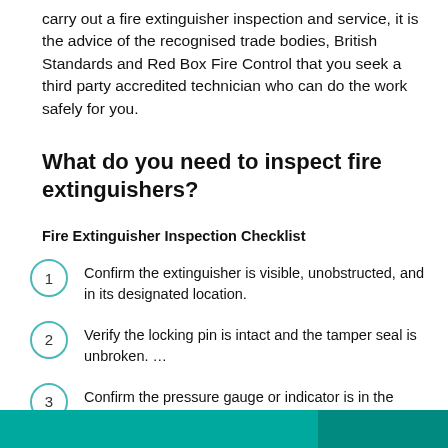carry out a fire extinguisher inspection and service, it is the advice of the recognised trade bodies, British Standards and Red Box Fire Control that you seek a third party accredited technician who can do the work safely for you.
What do you need to inspect fire extinguishers?
Fire Extinguisher Inspection Checklist
Confirm the extinguisher is visible, unobstructed, and in its designated location.
Verify the locking pin is intact and the tamper seal is unbroken. …
Confirm the pressure gauge or indicator is in the operable range or position, and lift the extinguisher to ensure it is still full.
[Figure (other): Teal/green decorative footer bar at the bottom of the page]